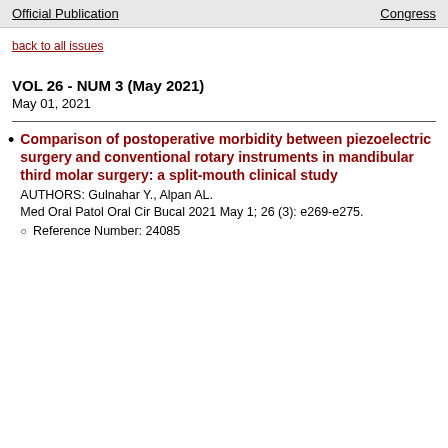Official Publication    Congress
back to all issues
VOL 26 - NUM 3 (May 2021)
May 01, 2021
Comparison of postoperative morbidity between piezoelectric surgery and conventional rotary instruments in mandibular third molar surgery: a split-mouth clinical study
AUTHORS: Gulnahar Y., Alpan AL.
Med Oral Patol Oral Cir Bucal 2021 May 1; 26 (3): e269-e275.
Reference Number: 24085